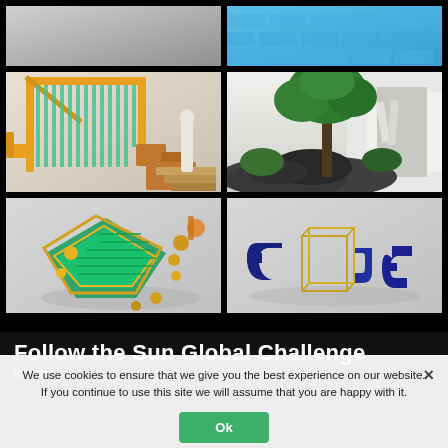[Figure (photo): Top-left: gray architectural render, partial view]
[Figure (photo): Top-right: blue brick wall texture]
[Figure (photo): Mid-left: yellow/orange architectural frame with glass panels, steps]
[Figure (photo): Mid-right: green tree and shrubs with white architectural interior background]
[Figure (photo): Bottom-left: green and gold geometric 3D object with spheres floating]
[Figure (photo): Bottom-right: blue and gold 3D printed/modeled objects on gray background]
We use cookies to ensure that we give you the best experience on our website. If you continue to use this site we will assume that you are happy with it.
Follow the Sun Global Challenge
initiator